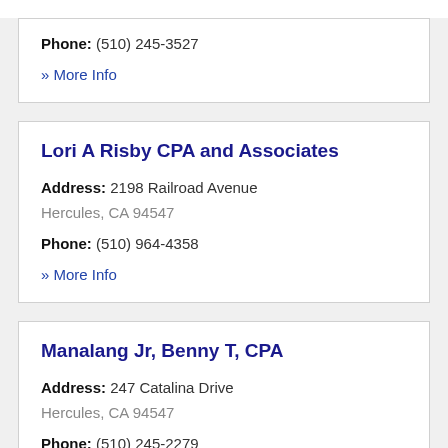Phone: (510) 245-3527
» More Info
Lori A Risby CPA and Associates
Address: 2198 Railroad Avenue
Hercules, CA 94547
Phone: (510) 964-4358
» More Info
Manalang Jr, Benny T, CPA
Address: 247 Catalina Drive
Hercules, CA 94547
Phone: (510) 245-2279
» More Info